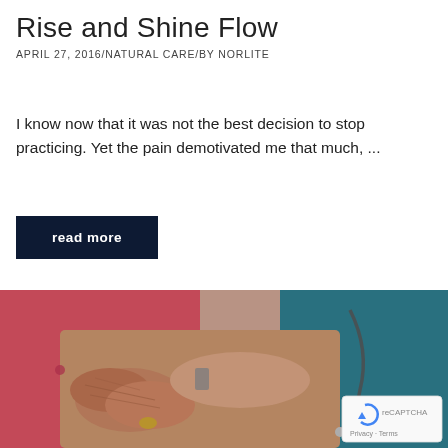Rise and Shine Flow
APRIL 27, 2016/NATURAL CARE/BY NORLITE
I know now that it was not the best decision to stop practicing. Yet the pain demotivated me that much, ...
read more
[Figure (photo): Close-up of an elderly person's hands being held by a healthcare professional wearing a teal top and stethoscope]
Privacy · Terms